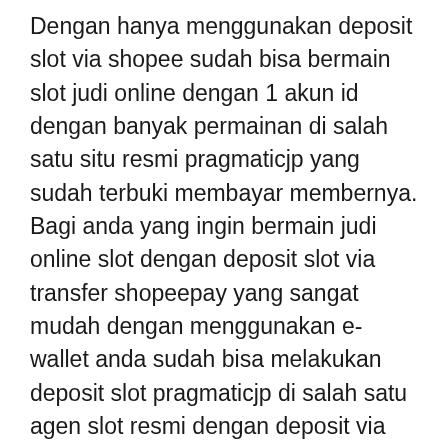Dengan hanya menggunakan deposit slot via shopee sudah bisa bermain slot judi online dengan 1 akun id dengan banyak permainan di salah satu situ resmi pragmaticjp yang sudah terbuki membayar membernya. Bagi anda yang ingin bermain judi online slot dengan deposit slot via transfer shopeepay yang sangat mudah dengan menggunakan e-wallet anda sudah bisa melakukan deposit slot pragmaticjp di salah satu agen slot resmi dengan deposit via aplikasi shopee. Namun, tidak jika anda memilih bergabung dan bermain slot di agen judi slot online terbaik di Indonesia, dimana layanan judi terbaiknya pastinya sudah mendukung berbagai kelebihan yang disediakan. Semua game judi online tertulis bisa anda mainkan kecuali dengan menetapkan 1 buah akun